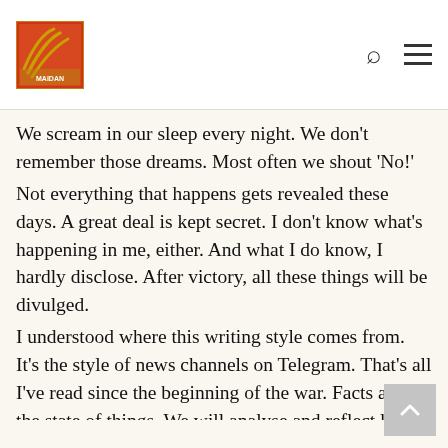[Logo: Maidan] [Search icon] [Menu icon]
We scream in our sleep every night. We don't remember those dreams. Most often we shout 'No!'
Not everything that happens gets revealed these days. A great deal is kept secret. I don't know what's happening in me, either. And what I do know, I hardly disclose. After victory, all these things will be divulged.
I understood where this writing style comes from. It's the style of news channels on Telegram. That's all I've read since the beginning of the war. Facts and the state of things. We will analyse and reflect later, after the victory. Right now, others analyse and make plans for us. We can only feel and get through it.
Classes have resumed. Yesterday I sent a message to the students.
In the newsfeed today:
'A third-year student at the V. N. Karazin Kharkiv